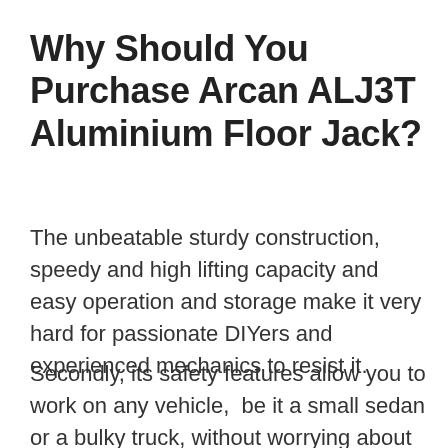Why Should You Purchase Arcan ALJ3T Aluminium Floor Jack?
The unbeatable sturdy construction, speedy and high lifting capacity and easy operation and storage make it very hard for passionate DIYers and experienced mechanics to resist it.
Secondly, its safety features allow you to work on any vehicle,  be it a small sedan or a bulky truck, without worrying about